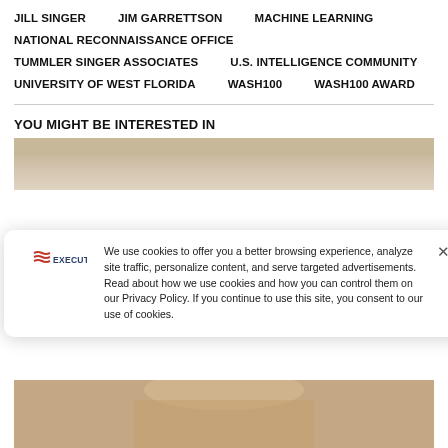JILL SINGER
JIM GARRETTSON
MACHINE LEARNING
NATIONAL RECONNAISSANCE OFFICE
TUMMLER SINGER ASSOCIATES
U.S. INTELLIGENCE COMMUNITY
UNIVERSITY OF WEST FLORIDA
WASH100
WASH100 AWARD
YOU MIGHT BE INTERESTED IN
[Figure (photo): Partial photo of a person, top of head visible, gray/brown hair]
We use cookies to offer you a better browsing experience, analyze site traffic, personalize content, and serve targeted advertisements. Read about how we use cookies and how you can control them on our Privacy Policy. If you continue to use this site, you consent to our use of cookies.
[Figure (logo): ExecutiveGov logo with wavy lines representing a flag]
[Figure (photo): Partial photo of a person, lower face visible]